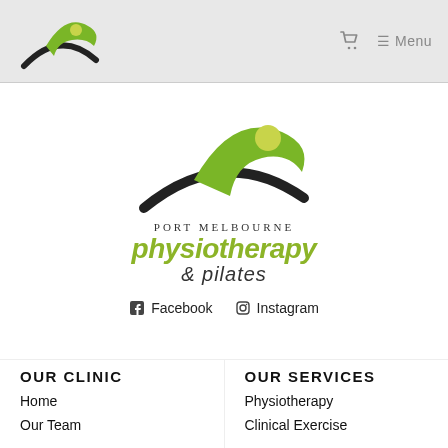[Figure (logo): Port Melbourne Physiotherapy & Pilates small logo in header nav bar]
[Figure (logo): Port Melbourne Physiotherapy & Pilates main center logo with figure graphic, text PORT MELBOURNE physiotherapy & pilates]
Facebook   Instagram
OUR CLINIC
OUR SERVICES
Home
Physiotherapy
Our Team
Clinical Exercise